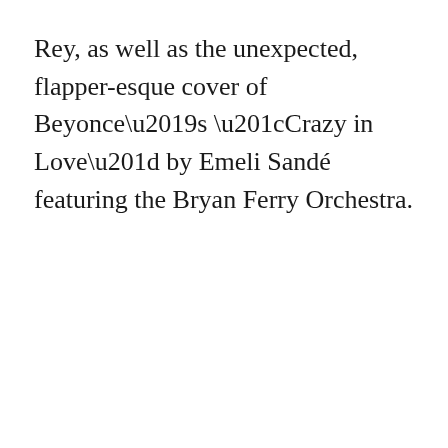Rey, as well as the unexpected, flapper-esque cover of Beyonce’s “Crazy in Love” by Emeli Sandé featuring the Bryan Ferry Orchestra.